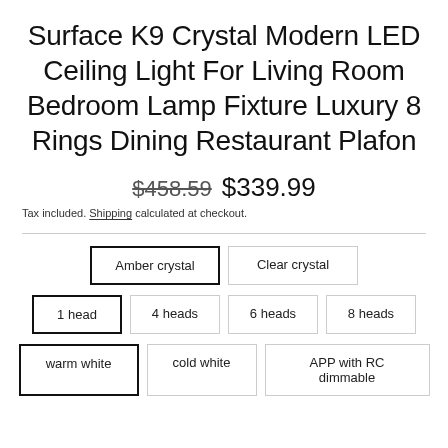Surface K9 Crystal Modern LED Ceiling Light For Living Room Bedroom Lamp Fixture Luxury 8 Rings Dining Restaurant Plafon
$458.59  $339.99
Tax included. Shipping calculated at checkout.
Amber crystal | Clear crystal
1 head | 4 heads | 6 heads | 8 heads
warm white | cold white | APP with RC dimmable